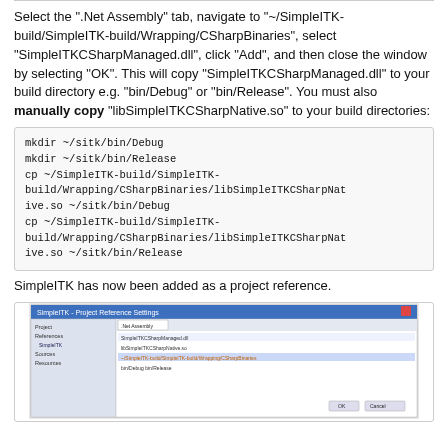Select the ".Net Assembly" tab, navigate to "~/SimpleITK-build/SimpleITK-build/Wrapping/CSharpBinaries", select "SimpleITKCSharpManaged.dll", click "Add", and then close the window by selecting "OK". This will copy "SimpleITKCSharpManaged.dll" to your build directory e.g. "bin/Debug" or "bin/Release". You must also manually copy "libSimpleITKCSharpNative.so" to your build directories:
SimpleITK has now been added as a project reference.
[Figure (screenshot): Screenshot of a software IDE or project settings window showing SimpleITK added as a project reference.]